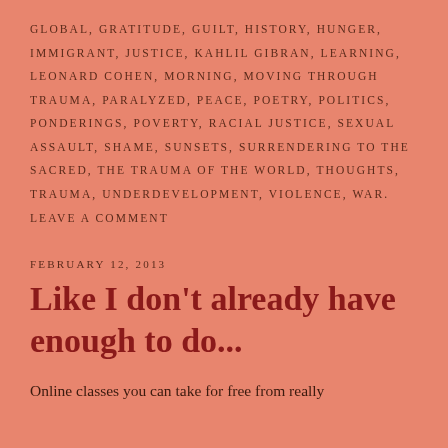GLOBAL, GRATITUDE, GUILT, HISTORY, HUNGER, IMMIGRANT, JUSTICE, KAHLIL GIBRAN, LEARNING, LEONARD COHEN, MORNING, MOVING THROUGH TRAUMA, PARALYZED, PEACE, POETRY, POLITICS, PONDERINGS, POVERTY, RACIAL JUSTICE, SEXUAL ASSAULT, SHAME, SUNSETS, SURRENDERING TO THE SACRED, THE TRAUMA OF THE WORLD, THOUGHTS, TRAUMA, UNDERDEVELOPMENT, VIOLENCE, WAR. LEAVE A COMMENT
FEBRUARY 12, 2013
Like I don't already have enough to do...
Online classes you can take for free from really